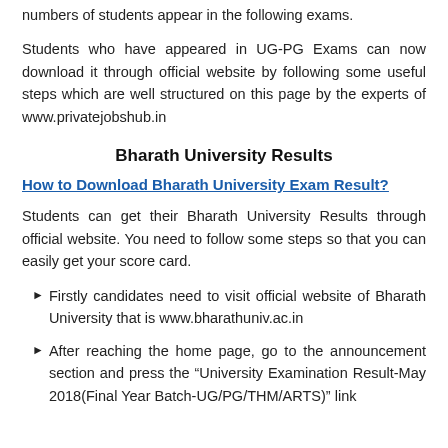numbers of students appear in the following exams.
Students who have appeared in UG-PG Exams can now download it through official website by following some useful steps which are well structured on this page by the experts of www.privatejobshub.in
Bharath University Results
How to Download Bharath University Exam Result?
Students can get their Bharath University Results through official website. You need to follow some steps so that you can easily get your score card.
Firstly candidates need to visit official website of Bharath University that is www.bharathuniv.ac.in
After reaching the home page, go to the announcement section and press the “University Examination Result-May 2018(Final Year Batch-UG/PG/THM/ARTS)” link